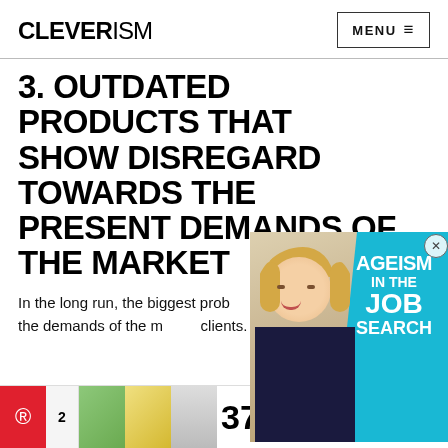CLEVERISM | MENU ≡
3. OUTDATED PRODUCTS THAT SHOW DISREGARD TOWARDS THE PRESENT DEMANDS OF THE MARKET
In the long run, the biggest prob... meeting the demands of the m... clients.
[Figure (photo): Advertisement overlay showing a woman with blonde hair and an 'AGEISM IN THE JOB SEARCH' banner in cyan/teal color]
For a client, realizing that a certain product is not available anymore can be frustrating. Well, the same goes for outdated products.
[Figure (infographic): Bottom advertisement banner: Pinterest button, share count '2', images, '37 ITEMS PEOPLE LOVE TO PURCHASE ON AMAZON', 22 Words logo, '21 SHARES']